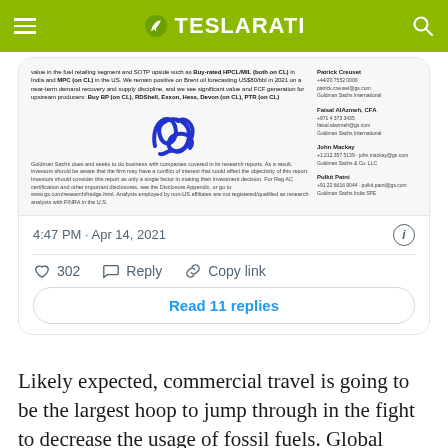TESLARATI
[Figure (screenshot): Screenshot of a Goldman Sachs research report excerpt showing text about Buy-rated HPCL/MPC (both on CL) in India and MPC (on CL) in the US, forecasting US$80/bbl in 2021, with analyst contact details and a signature, followed by a disclaimer about Goldman Sachs conflicts of interest. Embedded in a Twitter/X card showing 4:47 PM · Apr 14, 2021, 302 likes, Reply, Copy link, and Read 11 replies button.]
Likely expected, commercial travel is going to be the largest hoop to jump through in the fight to decrease the usage of fossil fuels. Global aviation trends and business calls…